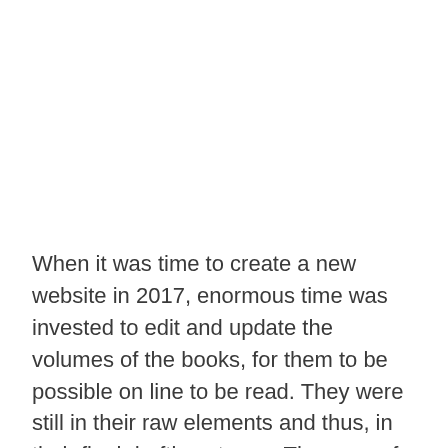When it was time to create a new website in 2017, enormous time was invested to edit and update the volumes of the books, for them to be possible on line to be read. They were still in their raw elements and thus, in their final drafting stages. They were for free to access worldwide to read and even download for free. This gave opportunities to truly appreciate the enormity of hard work invested over decades what was intended to share worldwide.